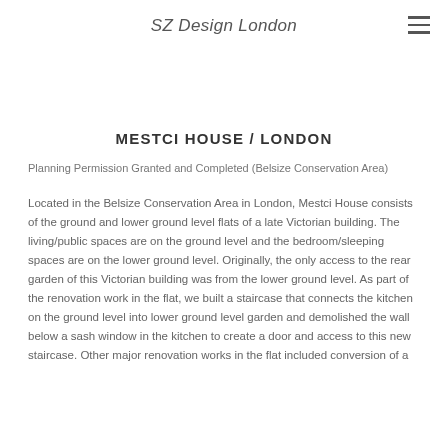SZ Design London
MESTCI HOUSE / LONDON
Planning Permission Granted and Completed (Belsize Conservation Area)
Located in the Belsize Conservation Area in London, Mestci House consists of the ground and lower ground level flats of a late Victorian building. The living/public spaces are on the ground level and the bedroom/sleeping spaces are on the lower ground level. Originally, the only access to the rear garden of this Victorian building was from the lower ground level. As part of the renovation work in the flat, we built a staircase that connects the kitchen on the ground level into lower ground level garden and demolished the wall below a sash window in the kitchen to create a door and access to this new staircase. Other major renovation works in the flat included conversion of a